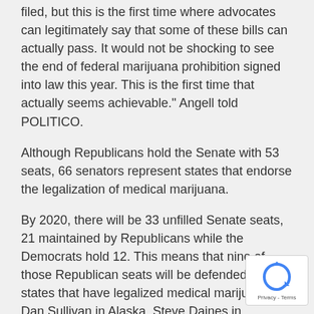filed, but this is the first time where advocates can legitimately say that some of these bills can actually pass. It would not be shocking to see the end of federal marijuana prohibition signed into law this year. This is the first time that actually seems achievable." Angell told POLITICO.
Although Republicans hold the Senate with 53 seats, 66 senators represent states that endorse the legalization of medical marijuana.
By 2020, there will be 33 unfilled Senate seats, 21 maintained by Republicans while the Democrats hold 12. This means that nine of those Republican seats will be defended by states that have legalized medical marijuana: Dan Sullivan in Alaska, Steve Daines in Montana, Susan Collins in Maine, Jim Inhofe in Oklahoma, Bill Cassidy in Louisiana, Tom Cotton in Arkansas, Shelley Moore Ca[pito] in West Virginia, Martha McSally in Arizona, and Cory Gardner in Colorado.
[Figure (logo): Google reCAPTCHA badge with circular arrow icon and Privacy - Terms text]